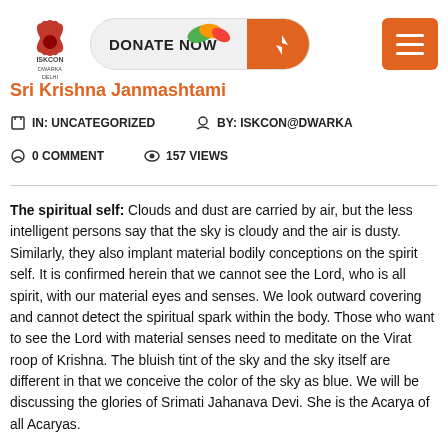[Figure (logo): ISKCON Dwarka Delhi lotus logo with text ISKCON DWARKA DELHI]
[Figure (illustration): Donate Now button with peacock feather and orange icon on right side]
[Figure (other): Orange hamburger menu button with three white horizontal lines]
Sri Krishna Janmashtami
IN: UNCATEGORIZED   BY: ISKCON@DWARKA
0 COMMENT   157 VIEWS
The spiritual self: Clouds and dust are carried by air, but the less intelligent persons say that the sky is cloudy and the air is dusty. Similarly, they also implant material bodily conceptions on the spirit self. It is confirmed herein that we cannot see the Lord, who is all spirit, with our material eyes and senses. We look outward covering and cannot detect the spiritual spark within the body. Those who want to see the Lord with material senses need to meditate on the Virat roop of Krishna. The bluish tint of the sky and the sky itself are different in that we conceive the color of the sky as blue. We will be discussing the glories of Srimati Jahanava Devi. She is the Acarya of all Acaryas.